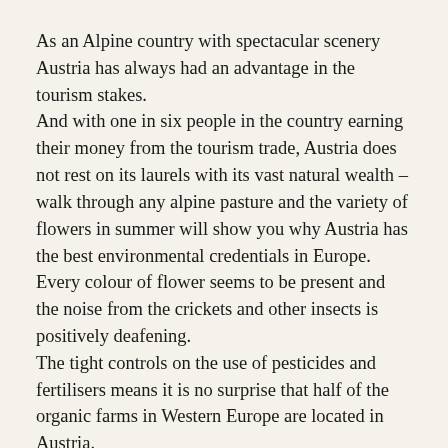As an Alpine country with spectacular scenery Austria has always had an advantage in the tourism stakes.
And with one in six people in the country earning their money from the tourism trade, Austria does not rest on its laurels with its vast natural wealth – walk through any alpine pasture and the variety of flowers in summer will show you why Austria has the best environmental credentials in Europe. Every colour of flower seems to be present and the noise from the crickets and other insects is positively deafening.
The tight controls on the use of pesticides and fertilisers means it is no surprise that half of the organic farms in Western Europe are located in Austria.